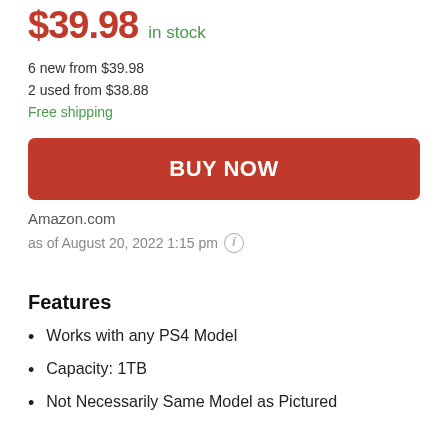$39.98 in stock
6 new from $39.98
2 used from $38.88
Free shipping
BUY NOW
Amazon.com
as of August 20, 2022 1:15 pm
Features
Works with any PS4 Model
Capacity: 1TB
Not Necessarily Same Model as Pictured